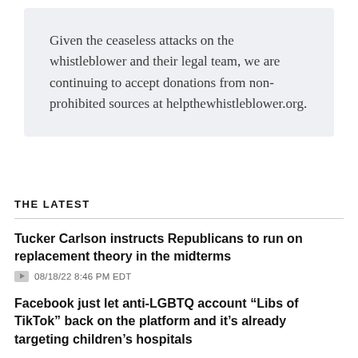Given the ceaseless attacks on the whistleblower and their legal team, we are continuing to accept donations from non-prohibited sources at helpthewhistleblower.org.
THE LATEST
Tucker Carlson instructs Republicans to run on replacement theory in the midterms
08/18/22 8:46 PM EDT
Facebook just let anti-LGBTQ account “Libs of TikTok” back on the platform and it’s already targeting children’s hospitals